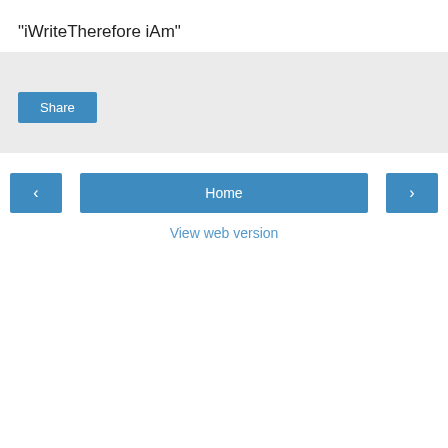"iWriteTherefore iAm"
[Figure (screenshot): A light gray box containing a Share button (blue/teal rounded rectangle with white text).]
Share
‹
Home
›
View web version